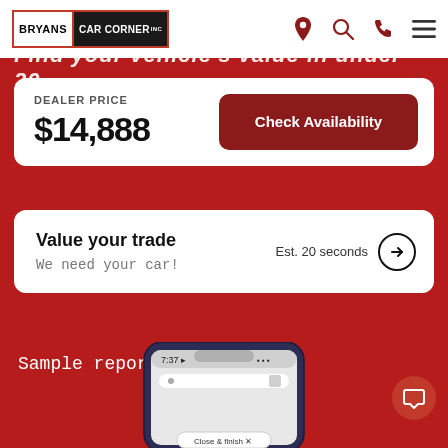[Figure (logo): Bryans Car Corner logo with red border, white background for BRYANS and black background for CAR CORNER]
[Figure (infographic): Navigation icons: location pin, search, phone, hamburger menu in dark red/crimson color]
Find your vehicle's value in under 20
DEALER PRICE
$14,888
Check Availability
Value your trade
We need your car!
Est. 20 seconds
Sample report
[Figure (screenshot): Smartphone mockup showing a mobile browser at 7:37, with Close & finish button visible at bottom]